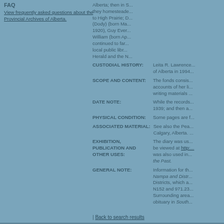FAQ
View frequently asked questions about the Provincial Archives of Alberta.
Alberta; then in S... they homesteade... to High Prairie; D... (Dody) (born Ma... 1920), Guy Ever... William (born Ap... continued to far... local public libr... Herald and the N...
CUSTODIAL HISTORY: Leita R. Lawrence... of Alberta in 1994...
SCOPE AND CONTENT: The fonds consis... accounts of her li... writing materials ...
DATE NOTE: While the records... 1939; and then a...
PHYSICAL CONDITION: Some pages are f...
ASSOCIATED MATERIAL: See also the Pea... Calgary, Alberta....
EXHIBITION, PUBLICATION AND OTHER USES: The diary was us... be viewed at http:... was also used in... the Past.
GENERAL NOTE: Information for th... Nampa and Distr... Districts, which a... N152 and 971.23... Surrounding area... obituary in South...
Back to search results